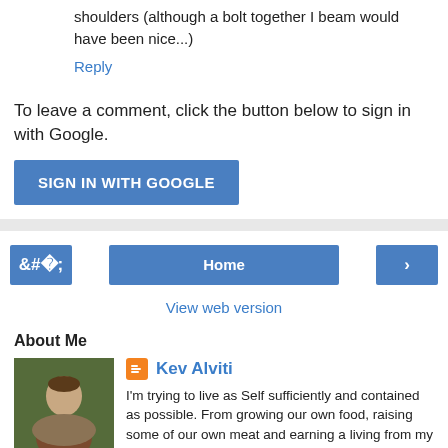shoulders (although a bolt together I beam would have been nice...)
Reply
To leave a comment, click the button below to sign in with Google.
SIGN IN WITH GOOGLE
‹
Home
›
View web version
About Me
[Figure (photo): Profile photo of Kev Alviti sitting on a hay bale outdoors]
Kev Alviti
I'm trying to live as Self sufficiently and contained as possible. From growing our own food, raising some of our own meat and earning a living from my hands. I work as a carpenter and I'm passionate about woodwork, traditional